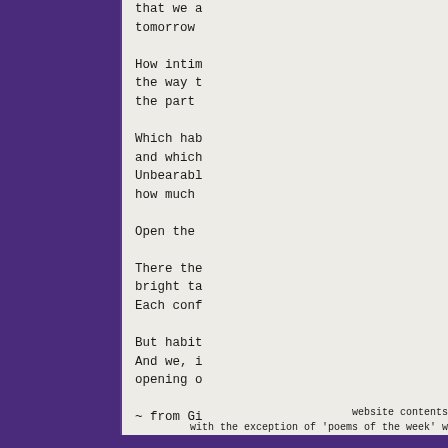that we a
tomorrow
How intim
the way t
the part
Which hab
and which
Unbearabl
how much
Open the
There the
bright ta
Each conf
But habit
And we, i
opening o
~ from Gi
website contents
with the exception of 'poems of the week' w